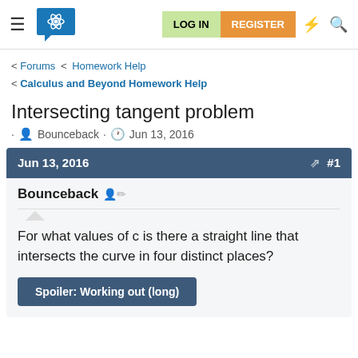LOG IN  REGISTER
< Forums < Homework Help
< Calculus and Beyond Homework Help
Intersecting tangent problem
· Bounceback · Jun 13, 2016
Jun 13, 2016  #1
Bounceback
For what values of c is there a straight line that intersects the curve in four distinct places?
Spoiler: Working out (long)